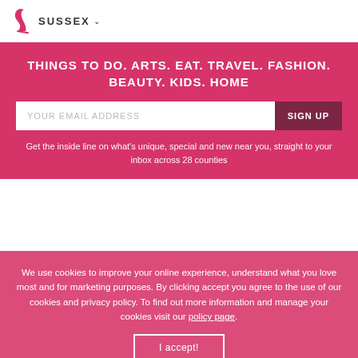SUSSEX
THINGS TO DO. ARTS. EAT. TRAVEL. FASHION. BEAUTY. KIDS. HOME
YOUR EMAIL ADDRESS
SIGN UP
Get the inside line on what’s unique, special and new near you, straight to your inbox across 28 counties
We use cookies to improve your online experience, understand what you love most and for marketing purposes. By clicking accept you agree to the use of our cookies and privacy policy. To find out more information and manage your cookies visit our policy page.
I accept!
‹ Back to Ho...
Brighton’s Rock ‘n’ Roll hotel